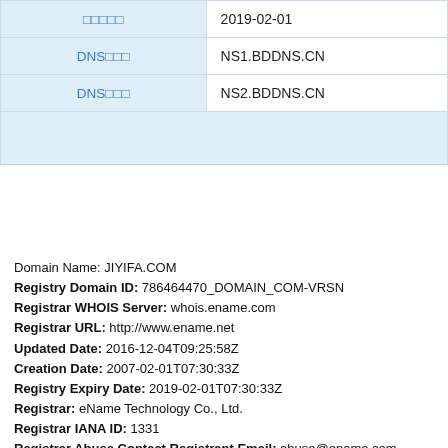| Label | Value |
| --- | --- |
| □□□□□ | 2019-02-01 |
| DNS□□□ | NS1.BDDNS.CN |
| DNS□□□ | NS2.BDDNS.CN |
|  |  |
Domain Name: JIYIFA.COM
Registry Domain ID: 786464470_DOMAIN_COM-VRSN
Registrar WHOIS Server: whois.ename.com
Registrar URL: http://www.ename.net
Updated Date: 2016-12-04T09:25:58Z
Creation Date: 2007-02-01T07:30:33Z
Registry Expiry Date: 2019-02-01T07:30:33Z
Registrar: eName Technology Co., Ltd.
Registrar IANA ID: 1331
Registrar Abuse Contact Registrant Email: abuse@ename.com
Registrar Abuse Contact Phone: 86.4000044400
Domain Status: clientDeleteProhibited https://icann.org/epp#clientDe
Domain Status: clientTransferProhibited https://icann.org/epp#client
Domain Status: clientUpdateProhibited https://icann.org/epp#clientU
Name Server: NS1.BDDNS.CN
Name Server: NS2.BDDNS.CN
DNSSEC: unsigned
URL of the ICANN Whois Inaccuracy Complaint Form: https://www.
>>> Last update of whois database: 2017-08-19T12:47:03Z <<<